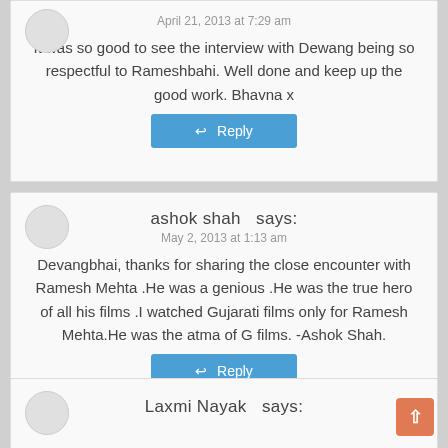April 21, 2013 at 7:29 am
It was so good to see the interview with Dewang being so respectful to Rameshbahi. Well done and keep up the good work. Bhavna x
Reply
ashok shah  says:
May 2, 2013 at 1:13 am
Devangbhai, thanks for sharing the close encounter with Ramesh Mehta .He was a genious .He was the true hero of all his films .I watched Gujarati films only for Ramesh Mehta.He was the atma of G films. -Ashok Shah.
Reply
Laxmi Nayak  says: